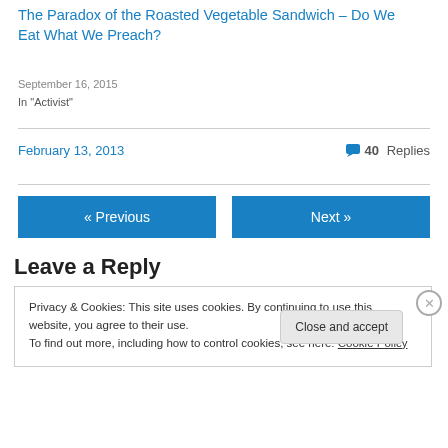The Paradox of the Roasted Vegetable Sandwich – Do We Eat What We Preach?
September 16, 2015
In "Activist"
February 13, 2013
40 Replies
« Previous
Next »
Leave a Reply
Privacy & Cookies: This site uses cookies. By continuing to use this website, you agree to their use.
To find out more, including how to control cookies, see here: Cookie Policy
Close and accept